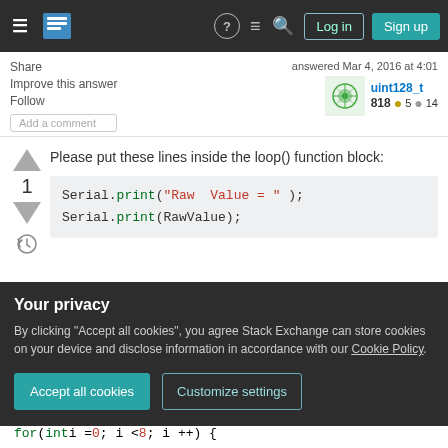Stack Exchange navigation bar with hamburger menu, logo, help, chat, search, Log in, Sign up
Share | answered Mar 4, 2016 at 4:01 | uint128_t | 818 ●5 ●14
Improve this answer
Follow
Add a comment
Please put these lines inside the loop() function block:
Serial.print("Raw  Value = " );
Serial.print(RawValue);
Your privacy
By clicking "Accept all cookies", you agree Stack Exchange can store cookies on your device and disclose information in accordance with our Cookie Policy.
Accept all cookies  Customize settings
for(int i = 0; i < 8; i ++) {